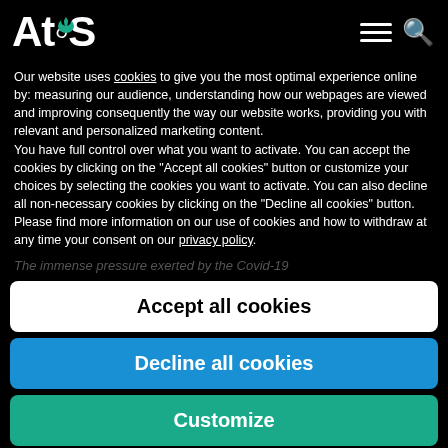Atos
Our website uses cookies to give you the most optimal experience online by: measuring our audience, understanding how our webpages are viewed and improving consequently the way our website works, providing you with relevant and personalized marketing content.
You have full control over what you want to activate. You can accept the cookies by clicking on the "Accept all cookies" button or customize your choices by selecting the cookies you want to activate. You can also decline all non-necessary cookies by clicking on the "Decline all cookies" button. Please find more information on our use of cookies and how to withdraw at any time your consent on our privacy policy.
The immense pressure exerted by the Covid-19...
Accept all cookies
Decline all cookies
Customize
Privacy policy
...media platforms are monitoring conditions of hospitalized patients given timely proactive clinical intervention ahead of...